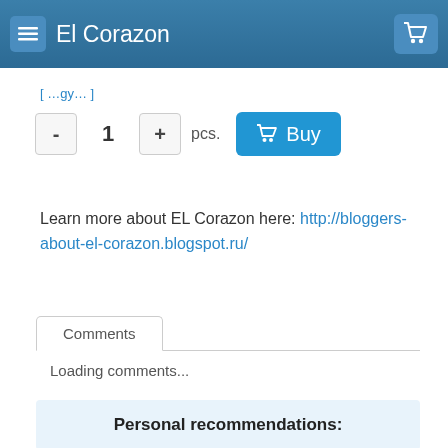El Corazon
1  pcs.
Learn more about EL Corazon here: http://bloggers-about-el-corazon.blogspot.ru/
Comments
Loading comments...
Personal recommendations: